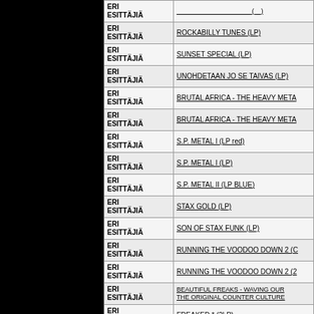| Artist | Title |
| --- | --- |
| ERI ESITTÄJIÄ | (partial title) |
| ERI ESITTÄJIÄ | ROCKABILLY TUNES (LP) |
| ERI ESITTÄJIÄ | SUNSET SPECIAL (LP) |
| ERI ESITTÄJIÄ | UNOHDETAAN JO SE TAIVAS (LP) |
| ERI ESITTÄJIÄ | BRUTAL AFRICA - THE HEAVY META... |
| ERI ESITTÄJIÄ | BRUTAL AFRICA - THE HEAVY META... |
| ERI ESITTÄJIÄ | S.P. METAL I (LP red) |
| ERI ESITTÄJIÄ | S.P. METAL I (LP) |
| ERI ESITTÄJIÄ | S.P. METAL II (LP BLUE) |
| ERI ESITTÄJIÄ | STAX GOLD (LP) |
| ERI ESITTÄJIÄ | SON OF STAX FUNK (LP) |
| ERI ESITTÄJIÄ | RUNNING THE VOODOO DOWN 2 (C... |
| ERI ESITTÄJIÄ | RUNNING THE VOODOO DOWN 2 (2... |
| ERI ESITTÄJIÄ | BEAUTIFUL FREAKS - WAVING OUR... THE ORIGINAL COUNTER CULTURE... |
| ERI ESITTÄJIÄ | FREAKED * (2LP) |
| ERI ESITTÄJIÄ | SOUL ON FIRE ~ THE DETROIT SOU... |
| ERI ESITTÄJIÄ | THE CONTEMPO STORY 1973-1977:... |
| ERI ESITTÄJIÄ | SINNER NOT A SAINT / NO PUPPY L... |
| ERI ESITTÄJIÄ | IF YOU GOT TO LOVE SOMEBODY... |